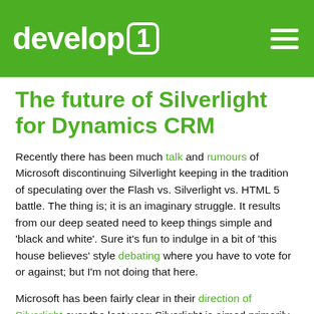develop1
The future of Silverlight for Dynamics CRM
Recently there has been much talk and rumours of Microsoft discontinuing Silverlight keeping in the tradition of speculating over the Flash vs. Silverlight vs. HTML 5 battle. The thing is; it is an imaginary struggle. It results from our deep seated need to keep things simple and 'black and white'. Sure it's fun to indulge in a bit of 'this house believes' style debating where you have to vote for or against; but I'm not doing that here.
Microsoft has been fairly clear in their direction of Silverlight over the last year; Silverlight is aimed primarily at 'Line of Business Applications' and 'Premium Media